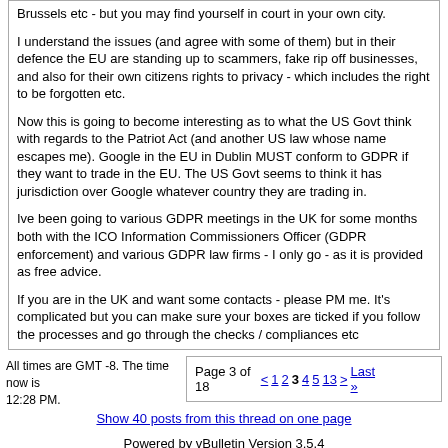Brussels etc - but you may find yourself in court in your own city.

I understand the issues (and agree with some of them) but in their defence the EU are standing up to scammers, fake rip off businesses, and also for their own citizens rights to privacy - which includes the right to be forgotten etc.

Now this is going to become interesting as to what the US Govt think with regards to the Patriot Act (and another US law whose name escapes me). Google in the EU in Dublin MUST conform to GDPR if they want to trade in the EU. The US Govt seems to think it has jurisdiction over Google whatever country they are trading in.

Ive been going to various GDPR meetings in the UK for some months both with the ICO Information Commissioners Officer (GDPR enforcement) and various GDPR law firms - I only go - as it is provided as free advice.

If you are in the UK and want some contacts - please PM me. It's complicated but you can make sure your boxes are ticked if you follow the processes and go through the checks / compliances etc
All times are GMT -8. The time now is 12:28 PM.
Page 3 of 18  < 1 2 3 4 5 13 > Last »
Show 40 posts from this thread on one page
Powered by vBulletin Version 3.5.4
Copyright ©2000 - 2022, Jelsoft Enterprises Ltd.